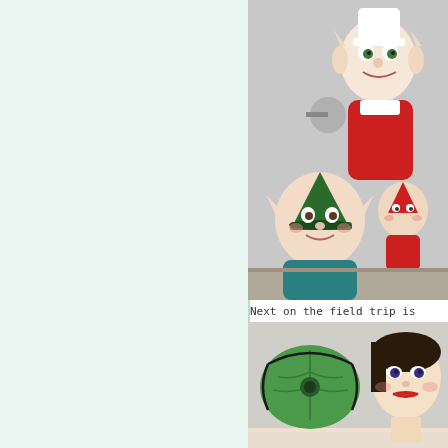[Figure (photo): Collection of vintage ceramic elf/pixie figurines on a shelf. The figurines are brightly colored in red, green, and white, with pointed ears and whimsical expressions. One large elf wears a white chef hat and red outfit; another wears a green cap; a smaller one is also visible in red.]
Next on the field trip is
[Figure (photo): Vintage ceramic items on a shelf: a green leaf-shaped dish or ashtray with a black cord/necklace on it, and a ceramic female face/bust with dark hair and red lips, reminiscent of a 1950s style figurine.]